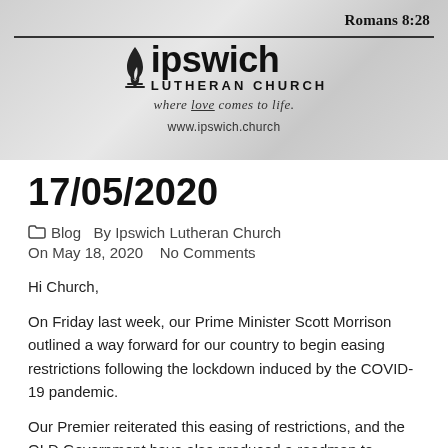[Figure (logo): Ipswich Lutheran Church header banner with logo, tagline 'where love comes to life', website URL www.ipswich.church, and Romans 8:28 scripture reference. Black and white/grayscale design.]
17/05/2020
Blog  By Ipswich Lutheran Church
On May 18, 2020    No Comments
Hi Church,
On Friday last week, our Prime Minister Scott Morrison outlined a way forward for our country to begin easing restrictions following the lockdown induced by the COVID-19 pandemic.
Our Premier reiterated this easing of restrictions, and the QLD Government have also produced a roadmap to